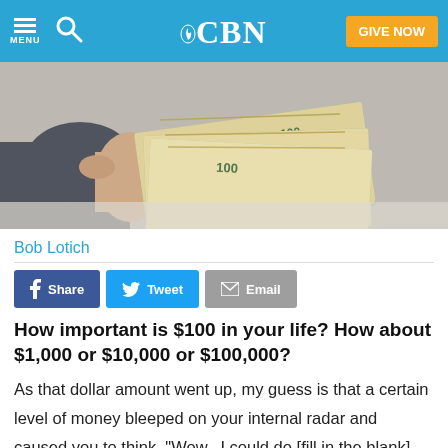CBN — GIVE NOW
[Figure (photo): A person holding a large fanned stack of $100 US dollar bills]
Bob Lotich
[Figure (infographic): Social sharing buttons: Share (Facebook), Tweet (Twitter), Email]
How important is $100 in your life? How about $1,000 or $10,000 or $100,000?
As that dollar amount went up, my guess is that a certain level of money bleeped on your internal radar and caused you to think, "Wow...I could do [fill in the blank]